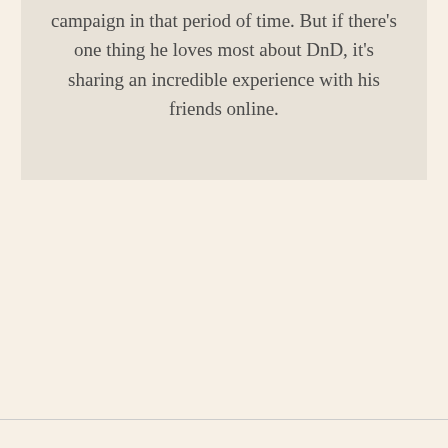campaign in that period of time. But if there's one thing he loves most about DnD, it's sharing an incredible experience with his friends online.